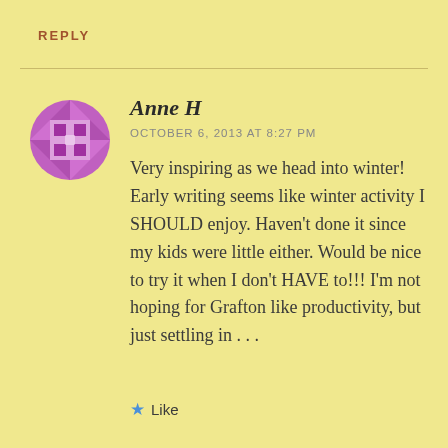REPLY
Anne H
OCTOBER 6, 2013 AT 8:27 PM
Very inspiring as we head into winter! Early writing seems like winter activity I SHOULD enjoy. Haven't done it since my kids were little either. Would be nice to try it when I don't HAVE to!!! I'm not hoping for Grafton like productivity, but just settling in . . .
★ Like